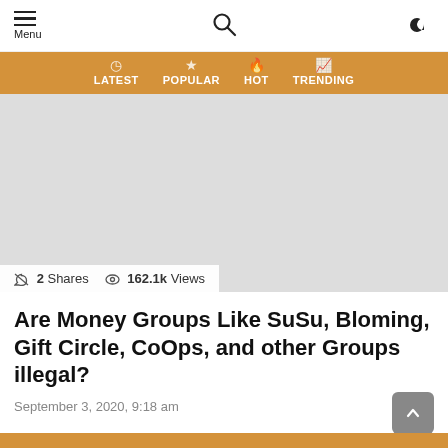Menu
LATEST  POPULAR  HOT  TRENDING
[Figure (photo): Hero image placeholder (gray rectangle) for article about money groups]
2 Shares  162.1k Views
Are Money Groups Like SuSu, Bloming, Gift Circle, CoOps, and other Groups illegal?
September 3, 2020, 9:18 am